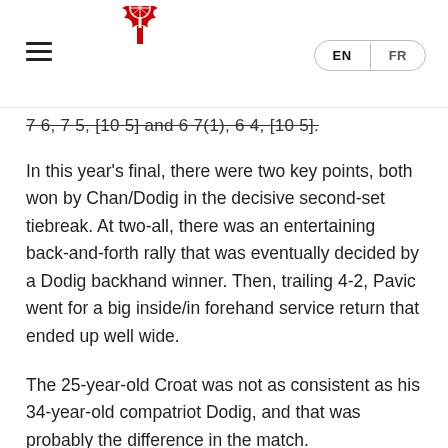Tennis Canada website header with logo, hamburger menu, and EN/FR language switcher
7 6, 7 5, [10 5] and 6 7(1), 6 4, [10 5].
In this year's final, there were two key points, both won by Chan/Dodig in the decisive second-set tiebreak. At two-all, there was an entertaining back-and-forth rally that was eventually decided by a Dodig backhand winner. Then, trailing 4-2, Pavic went for a big inside/in forehand service return that ended up well wide.
The 25-year-old Croat was not as consistent as his 34-year-old compatriot Dodig, and that was probably the difference in the match.